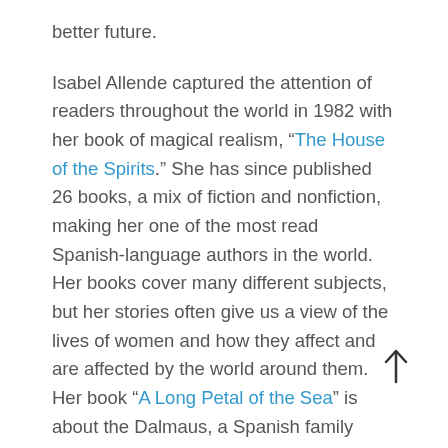better future.
Isabel Allende captured the attention of readers throughout the world in 1982 with her book of magical realism, “The House of the Spirits.” She has since published 26 books, a mix of fiction and nonfiction, making her one of the most read Spanish-language authors in the world. Her books cover many different subjects, but her stories often give us a view of the lives of women and how they affect and are affected by the world around them.  Her book “A Long Petal of the Sea” is about the Dalmaus, a Spanish family living in the midst of civil war. We follow Victor, an Army doctor, and Roser, his brother’s pregnant young widow as they flee over the mountainous French border and finally to Chile. The arrive to a country and a family that neither one of them wanted, but they are survivors and eventually